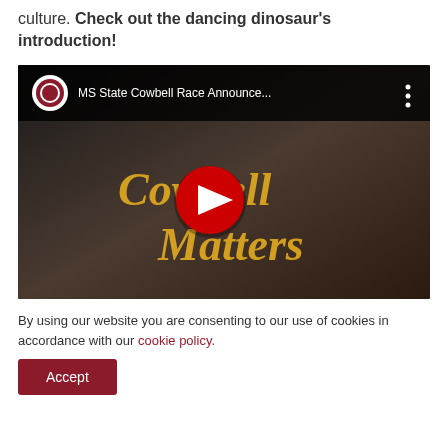culture. Check out the dancing dinosaur's introduction!
[Figure (screenshot): YouTube video embed showing 'MS State Cowbell Race Announce...' with 'Cowbell Matters' title text and a play button overlay]
By using our website you are consenting to our use of cookies in accordance with our cookie policy.
Accept